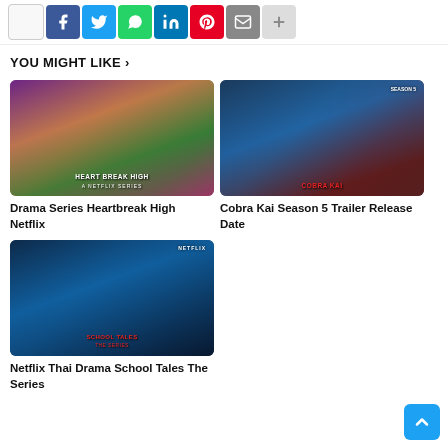[Figure (infographic): Social sharing buttons: Facebook (blue), Twitter (cyan), WhatsApp (green), LinkedIn (blue), Pinterest (red), Email (gray), More (light gray)]
YOU MIGHT LIKE ›
[Figure (photo): Heartbreak High Netflix series promotional image showing three young women]
Drama Series Heartbreak High Netflix
[Figure (photo): Cobra Kai Season 5 promotional image showing two men in fighting stances with red Cobra Kai logo]
Cobra Kai Season 5 Trailer Release Date
[Figure (photo): Netflix Thai Drama School Tales The Series promotional image showing a boy in school uniform with glowing effect, red School Tales logo]
Netflix Thai Drama School Tales The Series